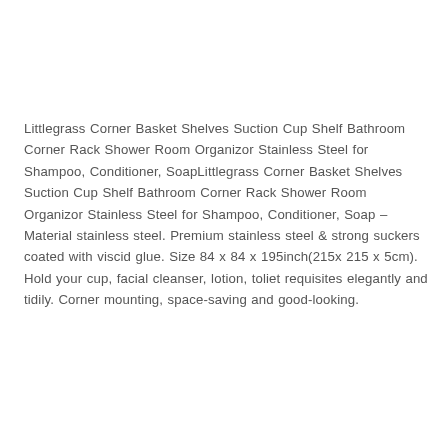Littlegrass Corner Basket Shelves Suction Cup Shelf Bathroom Corner Rack Shower Room Organizor Stainless Steel for Shampoo, Conditioner, SoapLittlegrass Corner Basket Shelves Suction Cup Shelf Bathroom Corner Rack Shower Room Organizor Stainless Steel for Shampoo, Conditioner, Soap – Material stainless steel. Premium stainless steel & strong suckers coated with viscid glue. Size 84 x 84 x 195inch(215x 215 x 5cm). Hold your cup, facial cleanser, lotion, toliet requisites elegantly and tidily. Corner mounting, space-saving and good-looking.